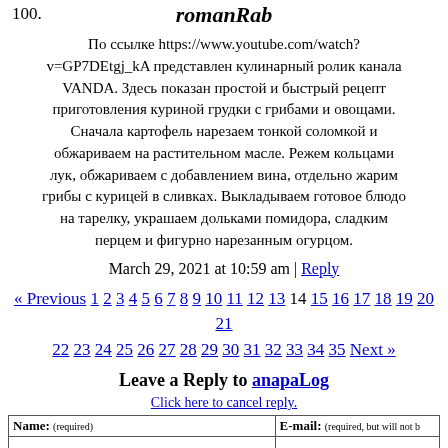100.
romanRab
По ссылке https://www.youtube.com/watch?v=GP7DEtgj_kA представлен кулинарный ролик канала VANDA. Здесь показан простой и быстрый рецепт приготовления куриной грудки с грибами и овощами. Сначала картофель нарезаем тонкой соломкой и обжариваем на растительном масле. Режем кольцами лук, обжариваем с добавлением вина, отдельно жарим грибы с курицей в сливках. Выкладываем готовое блюдо на тарелку, украшаем дольками помидора, сладким перцем и фигурно нарезанным огурцом.
March 29, 2021 at 10:59 am | Reply
« Previous 1 2 3 4 5 6 7 8 9 10 11 12 13 14 15 16 17 18 19 20 21 22 23 24 25 26 27 28 29 30 31 32 33 34 35 Next »
Leave a Reply to anapaLog
Click here to cancel reply.
| Name: (required) | E-mail: (required, but will not be published) |
| --- | --- |
|  |  |
| (textarea) |  |